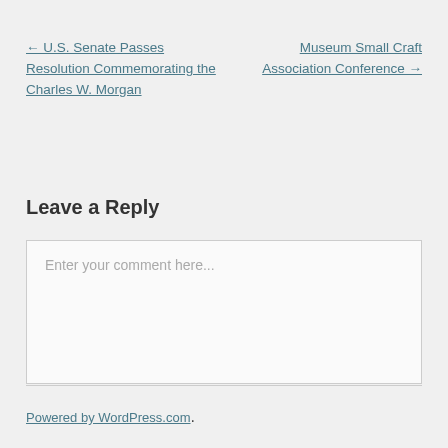← U.S. Senate Passes Resolution Commemorating the Charles W. Morgan
Museum Small Craft Association Conference →
Leave a Reply
Enter your comment here...
Powered by WordPress.com.